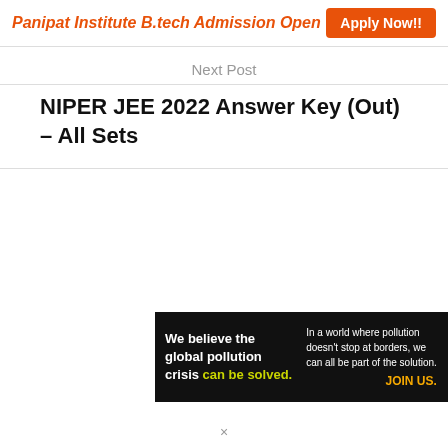Panipat Institute B.tech Admission Open  Apply Now!!
Next Post
NIPER JEE 2022 Answer Key (Out) – All Sets
[Figure (infographic): Pure Earth advertisement banner: black background with text 'We believe the global pollution crisis can be solved. In a world where pollution doesn't stop at borders, we can all be part of the solution. JOIN US.' and Pure Earth diamond logo with 'PURE EARTH' text.]